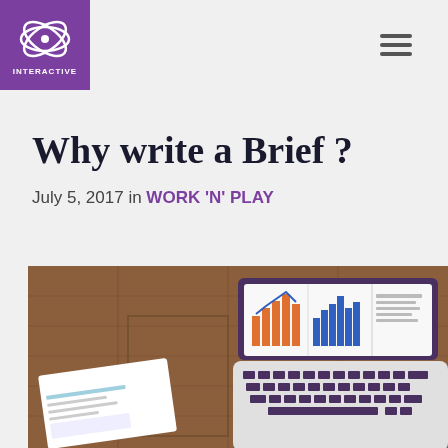INTERACTIVE
Why write a Brief ?
July 5, 2017 in WORK 'N' PLAY
[Figure (illustration): Illustration of a laptop on a wooden desk showing bar charts and graphs on screen, with documents and papers around it]